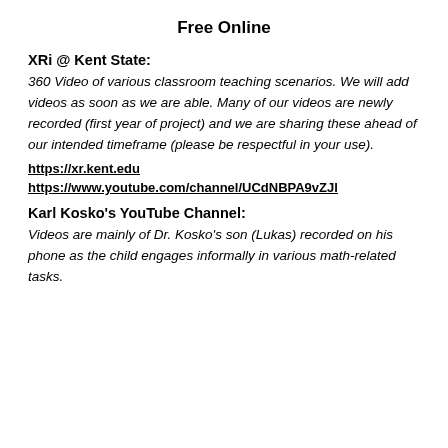Free Online
XRi @ Kent State:
360 Video of various classroom teaching scenarios. We will add videos as soon as we are able. Many of our videos are newly recorded (first year of project) and we are sharing these ahead of our intended timeframe (please be respectful in your use).
https://xr.kent.edu
https://www.youtube.com/channel/UCdNBPA9vZJl...
Karl Kosko's YouTube Channel:
Videos are mainly of Dr. Kosko's son (Lukas) recorded on his phone as the child engages informally in various math-related tasks.